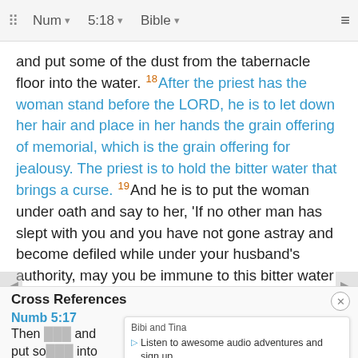⠿ Num ▾ 5:18 ▾ Bible ▾ ≡
and put some of the dust from the tabernacle floor into the water. 18After the priest has the woman stand before the LORD, he is to let down her hair and place in her hands the grain offering of memorial, which is the grain offering for jealousy. The priest is to hold the bitter water that brings a curse. 19And he is to put the woman under oath and say to her, 'If no other man has slept with you and you have not gone astray and become defiled while under your husband's authority, may you be immune to this bitter water that brings a curse....
Berean Study Bible · Download
Cross References
Numb 5:17
Then ... and put so... into
[Figure (other): Advertisement overlay: Bibi and Tina - Listen to awesome audio adventures and sign up the official Bibi&Tina YouTube Channel.]